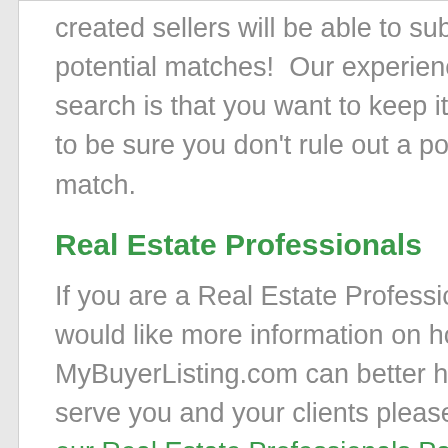created sellers will be able to submit potential matches!  Our experience with search is that you want to keep it broad to be sure you don't rule out a potential match.
Real Estate Professionals
If you are a Real Estate Professional and would like more information on how MyBuyerListing.com can better help serve you and your clients please visit our Real Estate Professionals Page